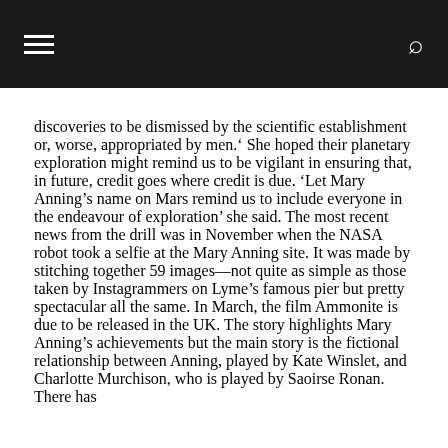≡  🔍
discoveries to be dismissed by the scientific establishment or, worse, appropriated by men.' She hoped their planetary exploration might remind us to be vigilant in ensuring that, in future, credit goes where credit is due. 'Let Mary Anning's name on Mars remind us to include everyone in the endeavour of exploration' she said. The most recent news from the drill was in November when the NASA robot took a selfie at the Mary Anning site. It was made by stitching together 59 images—not quite as simple as those taken by Instagrammers on Lyme's famous pier but pretty spectacular all the same. In March, the film Ammonite is due to be released in the UK. The story highlights Mary Anning's achievements but the main story is the fictional relationship between Anning, played by Kate Winslet, and Charlotte Murchison, who is played by Saoirse Ronan. There has